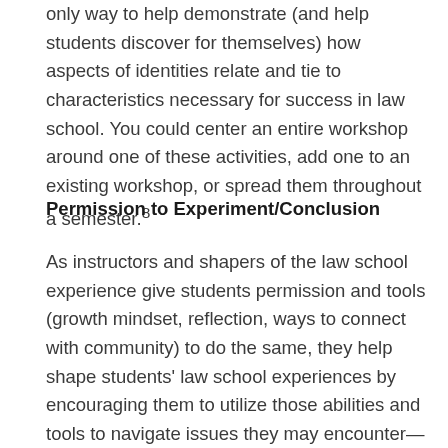only way to help demonstrate (and help students discover for themselves) how aspects of identities relate and tie to characteristics necessary for success in law school. You could center an entire workshop around one of these activities, add one to an existing workshop, or spread them throughout a semester.8
Permission to Experiment/Conclusion
As instructors and shapers of the law school experience give students permission and tools (growth mindset, reflection, ways to connect with community) to do the same, they help shape students' law school experiences by encouraging them to utilize those abilities and tools to navigate issues they may encounter—particularly in the first year. Utilizing ASP and DEI strategies to increase law students' sense of belonging and psychological safety and